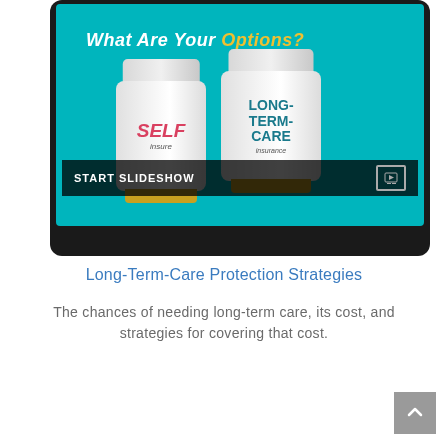[Figure (screenshot): A tablet screen displaying a slideshow about long-term care insurance options. The screen shows two pill bottles labeled 'SELF insure' and 'LONG-TERM-CARE insurance' against a teal background with the heading 'What Are Your Options?'. A 'START SLIDESHOW' bar appears at the bottom of the screen.]
Long-Term-Care Protection Strategies
The chances of needing long-term care, its cost, and strategies for covering that cost.